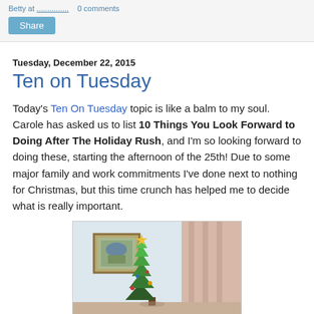Share
Tuesday, December 22, 2015
Ten on Tuesday
Today's Ten On Tuesday topic is like a balm to my soul. Carole has asked us to list 10 Things You Look Forward to Doing After The Holiday Rush, and I'm so looking forward to doing these, starting the afternoon of the 25th! Due to some major family and work commitments I've done next to nothing for Christmas, but this time crunch has helped me to decide what is really important.
[Figure (photo): Indoor Christmas tree with framed artwork and pink curtains in the background]